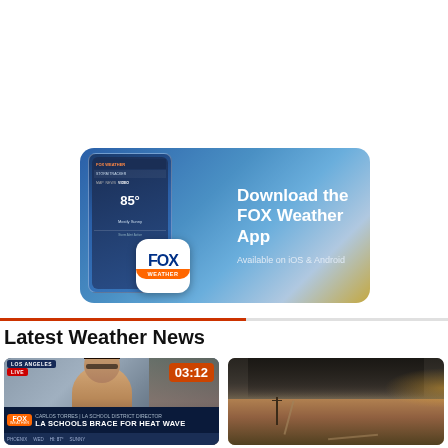[Figure (screenshot): Fox Weather app advertisement banner showing phone screenshot with 85 degrees display, Fox Weather logo icon, and text 'Download the FOX Weather App - Available on iOS & Android']
Latest Weather News
[Figure (screenshot): Video thumbnail showing a news anchor from Los Angeles with a LIVE tag, 03:12 duration badge in orange, lower chyron reading 'LA SCHOOLS BRACE FOR HEAT WAVE' with Carlos Torres - LA School District Director identifier, Fox Weather logo, and ticker bar showing PHOENIX, WED, and weather info]
[Figure (photo): Aerial photo of a wildfire with heavy dark smoke billowing over hilly terrain with dirt roads visible]